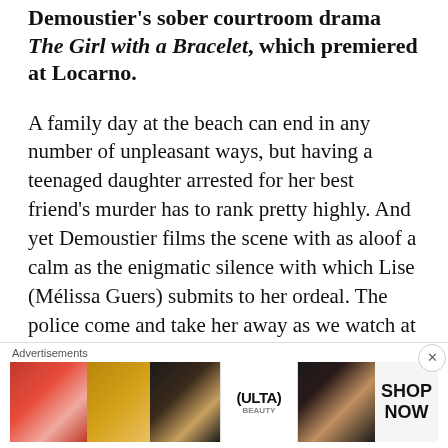Demoustier's sober courtroom drama The Girl with a Bracelet, which premiered at Locarno.
A family day at the beach can end in any number of unpleasant ways, but having a teenaged daughter arrested for her best friend's murder has to rank pretty highly. And yet Demoustier films the scene with as aloof a calm as the enigmatic silence with which Lise (Mélissa Guers) submits to her ordeal. The police come and take her away as we watch at a distance as if cinematographer Sylvain Verdet was respecting a restraining order and keeping
Advertisements
[Figure (photo): Advertisement banner for ULTA beauty products showing close-up images of lips with red lipstick, a makeup brush, a smoky eye, the ULTA beauty logo, another smoky eye, and a SHOP NOW call to action.]